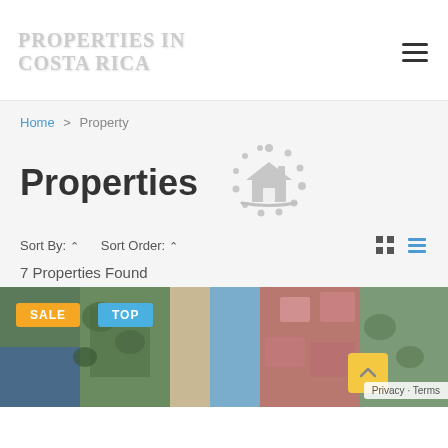[Figure (logo): Properties in Costa Rica logo - stylized serif text in light gray]
Home > Property
Properties
[Figure (illustration): Loading spinner icon with house silhouette in gray]
Sort By: ∨   Sort Order: ∨
7 Properties Found
[Figure (photo): Aerial view of coastal property with vegetation, road, and buildings. SALE and TOP badges visible.]